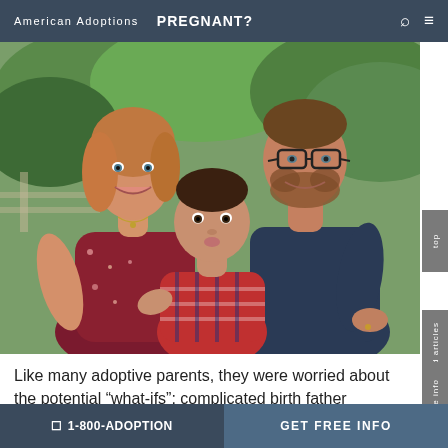American Adoptions   PREGNANT?
[Figure (photo): A smiling couple (woman in burgundy floral dress, man with beard and glasses in dark blue shirt) holding a baby in a plaid outfit, photographed outdoors with green foliage background.]
Like many adoptive parents, they were worried about the potential “what-ifs”: complicated birth father situations, drug exposure, and relationships with the birth family. They were nervous that their first time being parents might be more complex
☐ 1-800-ADOPTION   GET FREE INFO